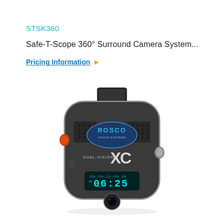STSK360
Safe-T-Scope 360° Surround Camera System...
Pricing Information ▶
[Figure (photo): Product photo of a Rosco Dual-Vision XC camera unit viewed from the front/top, showing a black rounded rectangular device with speaker grills, Rosco Vision Systems logo in a blue oval, DUAL-VISION XC branding, a digital display showing 06:25 with GPS/recording indicators, and a camera lens at the bottom.]